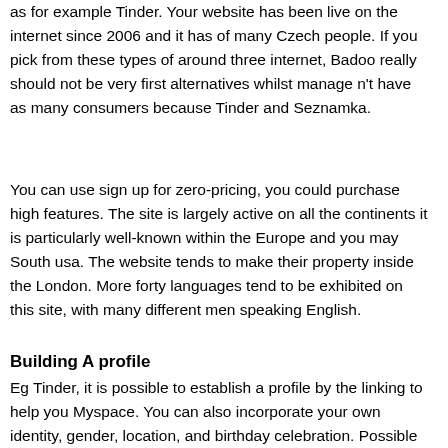as for example Tinder. Your website has been live on the internet since 2006 and it has of many Czech people. If you pick from these types of around three internet, Badoo really should not be very first alternatives whilst manage n't have as many consumers because Tinder and Seznamka.
You can use sign up for zero-pricing, you could purchase high features. The site is largely active on all the continents it is particularly well-known within the Europe and you may South usa. The website tends to make their property inside the London. More forty languages tend to be exhibited on this site, with many different men speaking English.
Building A profile
Eg Tinder, it is possible to establish a profile by the linking to help you Myspace. You can also incorporate your own identity, gender, location, and birthday celebration. Possible choose it's the perfect time, talk, or day whenever you build your profile. You could